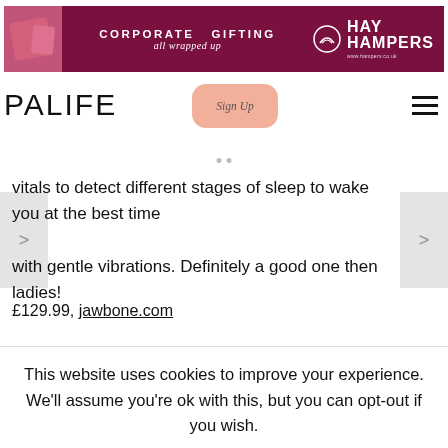[Figure (photo): Hay Hampers corporate gifting advertisement banner with dark pink/maroon background, gift box image on left, text 'CORPORATE GIFTING all wrapped up' and Hay Hampers logo on right]
[Figure (logo): PALIFE logo in large sans-serif text]
[Figure (other): Sign Up button with pink/salmon rounded rectangle background and cursive text]
[Figure (other): Hamburger menu icon (three horizontal lines)]
vitals to detect different stages of sleep to wake you at the best time with gentle vibrations. Definitely a good one then ladies!
£129.99, jawbone.com
This website uses cookies to improve your experience. We'll assume you're ok with this, but you can opt-out if you wish.
Accept
Read More